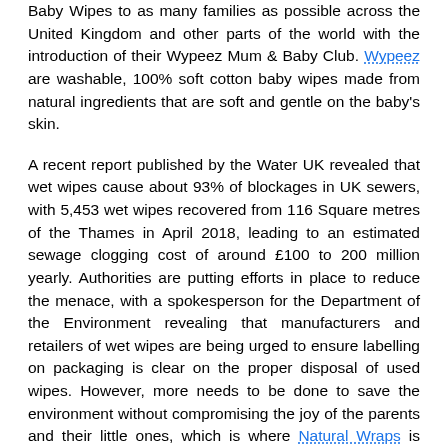Baby Wipes to as many families as possible across the United Kingdom and other parts of the world with the introduction of their Wypeez Mum & Baby Club. Wypeez are washable, 100% soft cotton baby wipes made from natural ingredients that are soft and gentle on the baby's skin.

A recent report published by the Water UK revealed that wet wipes cause about 93% of blockages in UK sewers, with 5,453 wet wipes recovered from 116 Square metres of the Thames in April 2018, leading to an estimated sewage clogging cost of around £100 to 200 million yearly. Authorities are putting efforts in place to reduce the menace, with a spokesperson for the Department of the Environment revealing that manufacturers and retailers of wet wipes are being urged to ensure labelling on packaging is clear on the proper disposal of used wipes. However, more needs to be done to save the environment without compromising the joy of the parents and their little ones, which is where Natural Wraps is looking to make a difference with the launch of Wypeez and